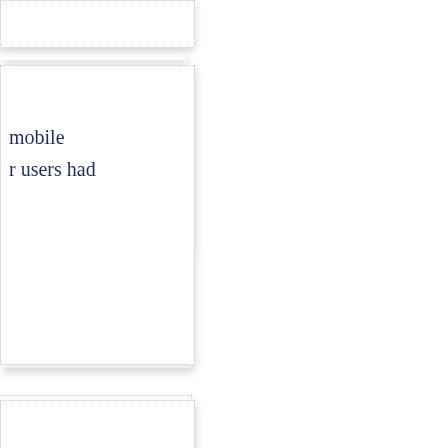(partial card top, clipped)
mobile
r users had
fits may be
nd getting
er
et another